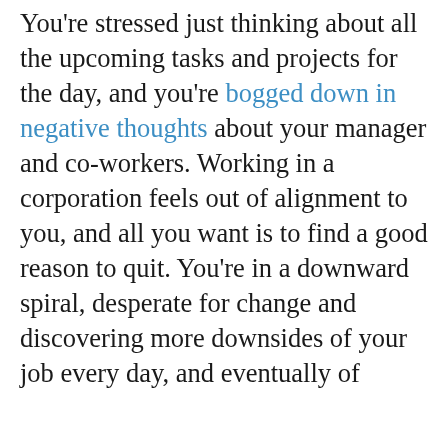You're stressed just thinking about all the upcoming tasks and projects for the day, and you're bogged down in negative thoughts about your manager and co-workers. Working in a corporation feels out of alignment to you, and all you want is to find a good reason to quit. You're in a downward spiral, desperate for change and discovering more downsides of your job every day, and eventually of
This website stores cookies on your computer. These cookies are used to improve your website experience and provide more personalized services to you, both on this website and through other media. To find out more about the cookies we use, see our Privacy Policy.
We won't track your information when you visit our site. But in order to comply with your preferences, we'll have to use just one tiny cookie so that you're not asked to make this choice
Please acknowledge that by using this site, you agree to our Privacy Policy and Terms of Use
I AGREE